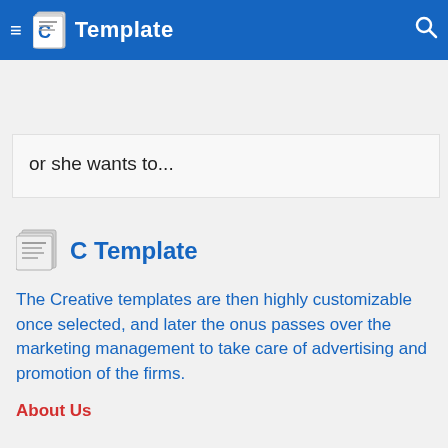C Template
or she wants to...
[Figure (logo): C Template logo with document icon]
The Creative templates are then highly customizable once selected, and later the onus passes over the marketing management to take care of advertising and promotion of the firms.
About Us